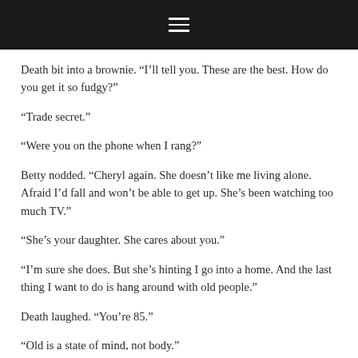≡
Death bit into a brownie. “I’ll tell you. These are the best. How do you get it so fudgy?”
“Trade secret.”
“Were you on the phone when I rang?”
Betty nodded. “Cheryl again. She doesn’t like me living alone. Afraid I’d fall and won’t be able to get up. She’s been watching too much TV.”
“She’s your daughter. She cares about you.”
“I’m sure she does. But she’s hinting I go into a home. And the last thing I want to do is hang around with old people.”
Death laughed. “You’re 85.”
“Old is a state of mind, not body.”